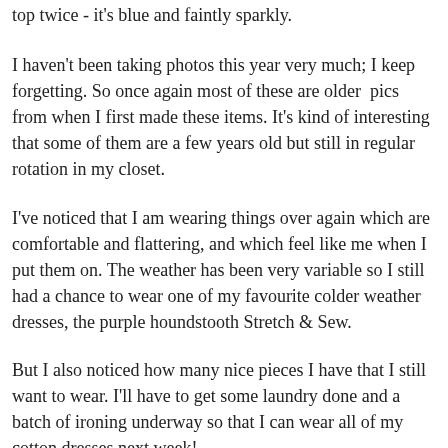top twice - it's blue and faintly sparkly.
I haven't been taking photos this year very much; I keep forgetting. So once again most of these are older  pics from when I first made these items. It's kind of interesting that some of them are a few years old but still in regular rotation in my closet.
I've noticed that I am wearing things over again which are comfortable and flattering, and which feel like me when I put them on. The weather has been very variable so I still had a chance to wear one of my favourite colder weather dresses, the purple houndstooth Stretch & Sew.
But I also noticed how many nice pieces I have that I still want to wear. I'll have to get some laundry done and a batch of ironing underway so that I can wear all of my cotton dresses next week!
And I have one UFO now in process, and one fairly large mending project at least moved on to the sewing table, so I